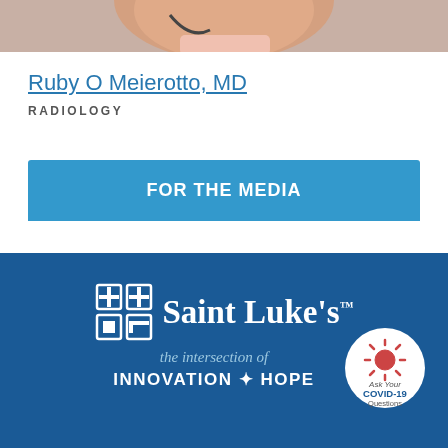[Figure (photo): Partial photo of Dr. Ruby O Meierotto, MD — cropped at neck/lower face, showing skin tones and collar of a pink shirt with a stethoscope visible]
Ruby O Meierotto, MD
RADIOLOGY
FOR THE MEDIA
[Figure (logo): Saint Luke's Health System logo with cross icon and text 'Saint Luke's' on dark blue background, with tagline 'the intersection of INNOVATION + HOPE' and a COVID-19 Ask Your Questions badge circle on the right]